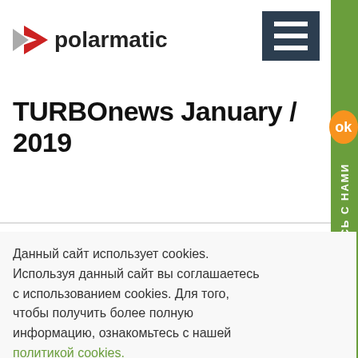[Figure (logo): Polarmatic logo with a red and grey triangular arrow icon and bold text 'polarmatic']
[Figure (other): Dark hamburger menu button (three white horizontal bars on dark background)]
[Figure (other): Green vertical sidebar with white Cyrillic text 'СВЯЖИТЕСЬ С НАМИ' rotated 90 degrees]
TURBOnews January / 2019
Данный сайт использует cookies. Используя данный сайт вы соглашаетесь с использованием cookies. Для того, чтобы получить более полную информацию, ознакомьтесь с нашей политикой cookies.